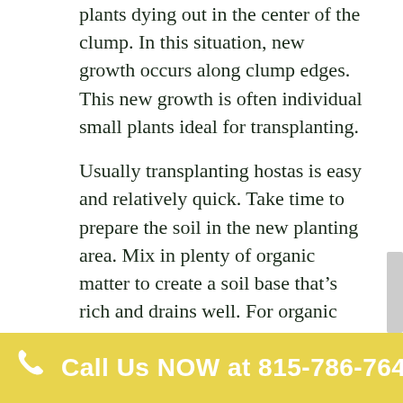plants dying out in the center of the clump. In this situation, new growth occurs along clump edges. This new growth is often individual small plants ideal for transplanting.
Usually transplanting hostas is easy and relatively quick. Take time to prepare the soil in the new planting area. Mix in plenty of organic matter to create a soil base that's rich and drains well. For organic matter, use compost, ground tree bark, composted manure or any other material that's locally available to you.
When transplanting hostas, you want to get as much of the root ball as you can. This is especially important with larger
Call Us NOW at 815-786-7647